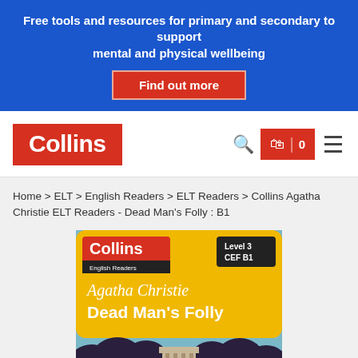Free tools and resources for primary and secondary to support mental and physical wellbeing
[Figure (logo): Collins logo - red rectangle with white bold text 'Collins']
Home > ELT > English Readers > ELT Readers > Collins Agatha Christie ELT Readers - Dead Man's Folly : B1
[Figure (illustration): Book cover for Collins English Readers - Agatha Christie Dead Man's Folly, Level 3 CEF B1. Yellow background with white italic text 'Agatha Christie' and 'Dead Man's Folly'. Dark clouds and building silhouette at bottom.]